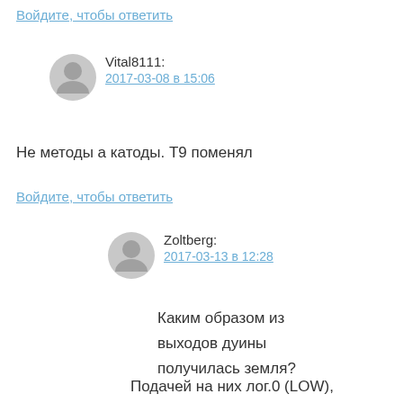Войдите, чтобы ответить
Vital8111:
2017-03-08 в 15:06
Не методы а катоды. Т9 поменял
Войдите, чтобы ответить
Zoltberg:
2017-03-13 в 12:28
Каким образом из выходов дуины получилась земля?
Подачей на них лог.0 (LOW),